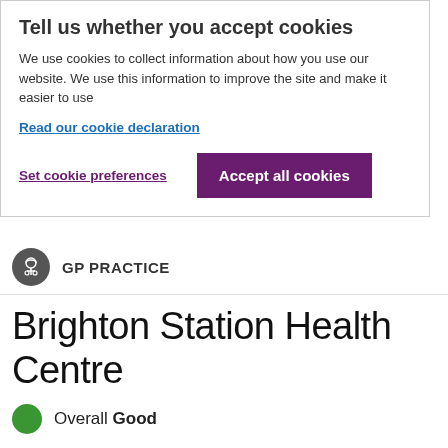Tell us whether you accept cookies
We use cookies to collect information about how you use our website. We use this information to improve the site and make it easier to use
Read our cookie declaration
Set cookie preferences
Accept all cookies
GP PRACTICE
Brighton Station Health Centre
Overall Good
Aspect House 84-87, Queens Road, Brighton, BN1 3XE
Provided and run by: